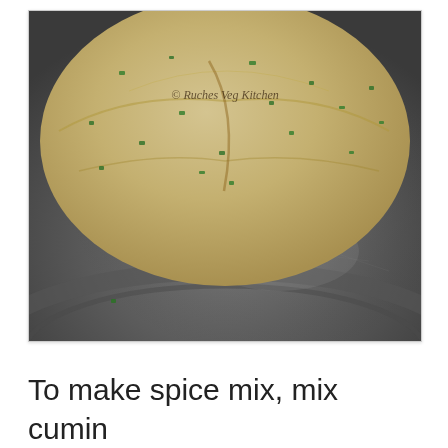[Figure (photo): A ball of raw dough mixed with green herbs (likely methi/fenugreek or spring onion) resting on a dark steel plate/tawa. Watermark reads '© Ruches Veg Kitchen'.]
To make spice mix, mix cumin